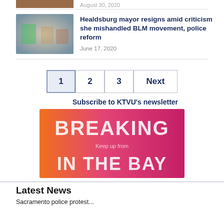[Figure (photo): Blurred news thumbnail image at top (partial, cropped)]
August 30, 2020
[Figure (photo): Blurred photo of people at a demonstration or event]
Healdsburg mayor resigns amid criticism she mishandled BLM movement, police reform
June 17, 2020
1 2 3 Next
Subscribe to KTVU's newsletter
[Figure (illustration): KTVU newsletter promotional banner with orange to pink gradient and text BREAKING IN THE BAY]
Latest News
Sacramento police protest...